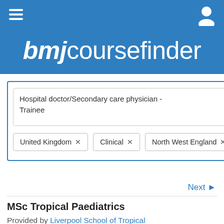bmjcoursefinder
Hospital doctor/Secondary care physician - Trainee
United Kingdom × Clinical × North West England ×
Next ▶
MSc Tropical Paediatrics
Provided by Liverpool School of Tropical